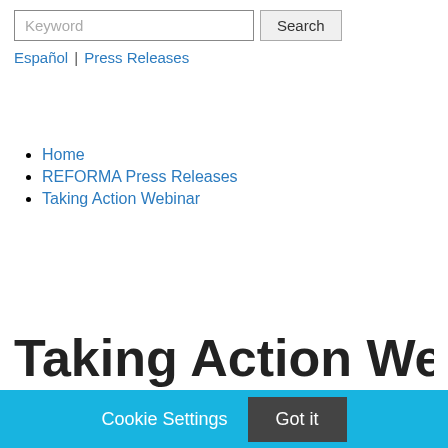Keyword  Search
Español | Press Releases
Home
REFORMA Press Releases
Taking Action Webinar
Taking Action Webinar
Cookie Settings  Got it
We use cookies so that we can remember you and understand how you use our site. If you do not agree with our use of cookies, please change the current settings found in our Cookie Policy. Otherwise, you agree to the use of the cookies as they are currently set.